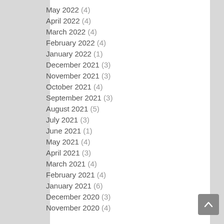May 2022 (4)
April 2022 (4)
March 2022 (4)
February 2022 (4)
January 2022 (1)
December 2021 (3)
November 2021 (3)
October 2021 (4)
September 2021 (3)
August 2021 (5)
July 2021 (3)
June 2021 (1)
May 2021 (4)
April 2021 (3)
March 2021 (4)
February 2021 (4)
January 2021 (6)
December 2020 (3)
November 2020 (4)